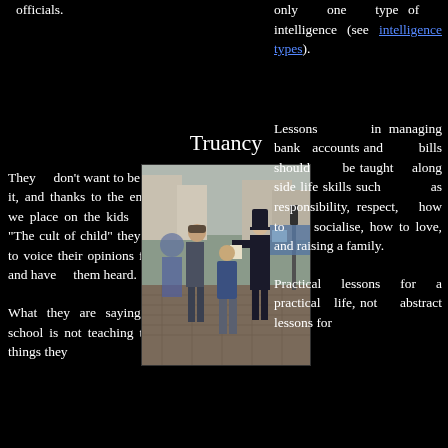officials.
only one type of intelligence (see intelligence types).
They don't want to be a part of it, and thanks to the emphasis we place on the kids today "The cult of child" they are able to voice their opinions freely and have them heard.
Truancy
[Figure (photo): A police officer in a tall black helmet speaking with a man and a child on a cobblestone street, other people and buildings visible in the background.]
Lessons in managing bank accounts and bills should be taught along side life skills such as responsibility, respect, how to socialise, how to love, and raising a family.
What they are saying is that school is not teaching them the things they
Practical lessons for a practical life, not abstract lessons for